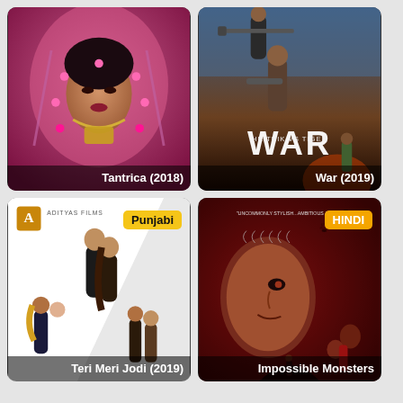[Figure (photo): Movie poster for Tantrica (2018) showing a woman in bridal attire with pink veil and gold jewelry on a pink background]
Tantrica (2018)
[Figure (photo): Movie poster for War (2019) showing two men with weapons and text 'HRITHIK VS TIGER' and 'WAR']
War (2019)
[Figure (photo): Movie poster for Teri Meri Jodi (2019) with Punjabi badge, showing multiple couples on white background]
Teri Meri Jodi (2019)
[Figure (photo): Movie poster for Impossible Monsters with HINDI badge, showing a man's face on red background with horror elements and review quote]
Impossible Monsters